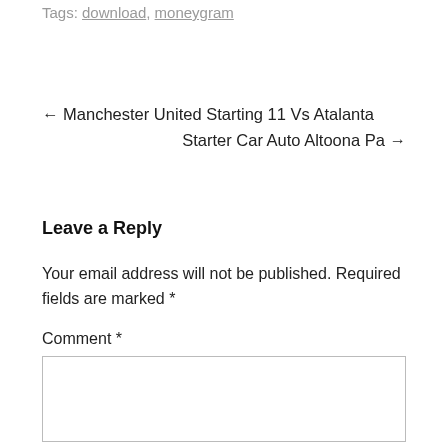Tags: download, moneygram
← Manchester United Starting 11 Vs Atalanta
Starter Car Auto Altoona Pa →
Leave a Reply
Your email address will not be published. Required fields are marked *
Comment *